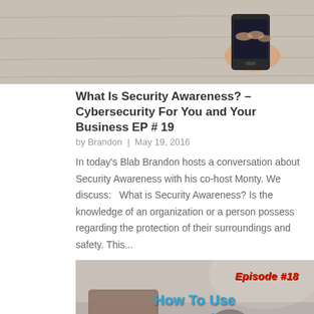[Figure (photo): Hand holding a dark device (phone/remote) on a light wooden or tiled surface, cropped at top]
What Is Security Awareness? – Cybersecurity For You and Your Business EP # 19
by Brandon | May 19, 2016
In today's Blab Brandon hosts a conversation about Security Awareness with his co-host Monty. We discuss:   What is Security Awareness? Is the knowledge of an organization or a person possess regarding the protection of their surroundings and safety. This...
[Figure (photo): Promotional image with text: Episode #18 in red, How To Use Encryption in blue, CYBERSECURITY in cyan at bottom, with blurred brown box object in background]